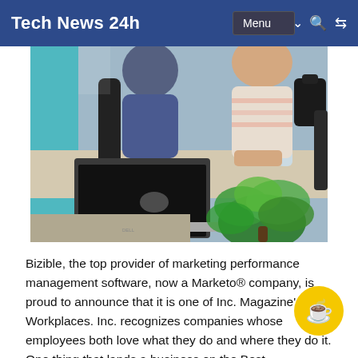Tech News 24h
[Figure (photo): Office scene with two people at a table with laptops, water bottles, and a green plant in the foreground]
Bizible, the top provider of marketing performance management software, now a Marketo® company, is proud to announce that it is one of Inc. Magazine's Best Workplaces. Inc. recognizes companies whose employees both love what they do and where they do it. One thing that lands a business on the Best...